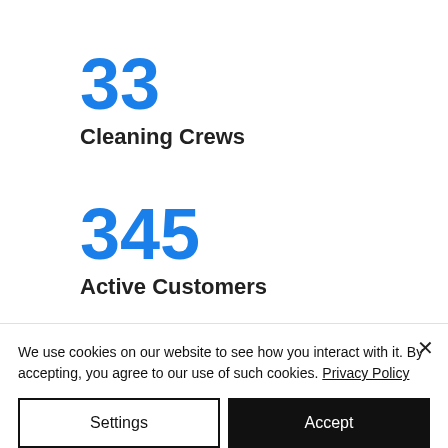33
Cleaning Crews
345
Active Customers
6
We use cookies on our website to see how you interact with it. By accepting, you agree to our use of such cookies. Privacy Policy
Settings
Accept